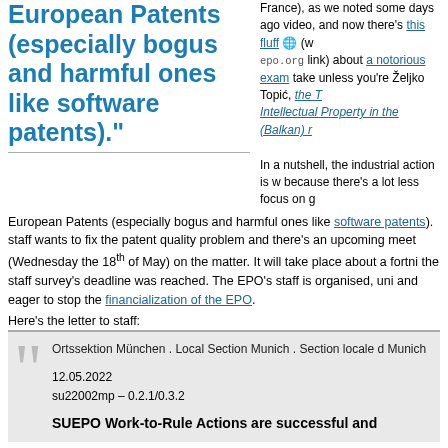European Patents (especially bogus and harmful ones like software patents)."
France), as we noted some days ago video, and now there's this fluff (w epo.org link) about a notorious exam take unless you're Željko Topić, the Intellectual Property in the (Balkan) r
In a nutshell, the industrial action is w because there's a lot less focus on g
European Patents (especially bogus and harmful ones like software patents). staff wants to fix the patent quality problem and there's an upcoming meet (Wednesday the 18th of May) on the matter. It will take place about a fortn the staff survey's deadline was reached. The EPO's staff is organised, uni and eager to stop the financialization of the EPO.
Here's the letter to staff:
Ortssektion München . Local Section Munich . Section locale d Munich
12.05.2022
su22002mp – 0.2.1/0.3.2
SUEPO Work-to-Rule Actions are successful and